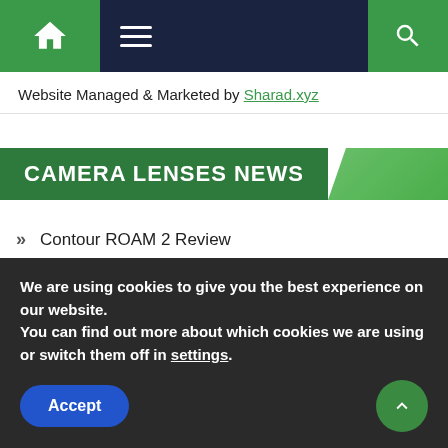[Figure (screenshot): Navigation bar with home icon, hamburger menu, and search icon on dark navy background with green accents]
Website Managed & Marketed by Sharad.xyz
CAMERA LENSES NEWS
Contour ROAM 2 Review
Canon EF 70-300mm f/4-5.6 IS USM Lens Review
Nikon 55-300mm f/4.5-5.6G ED VR AF-S DX Nikkor Zoom
We are using cookies to give you the best experience on our website.
You can find out more about which cookies we are using or switch them off in settings.